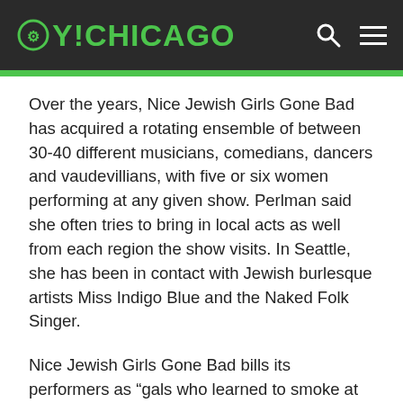OY!CHICAGO
Over the years, Nice Jewish Girls Gone Bad has acquired a rotating ensemble of between 30-40 different musicians, comedians, dancers and vaudevillians, with five or six women performing at any given show. Perlman said she often tries to bring in local acts as well from each region the show visits. In Seattle, she has been in contact with Jewish burlesque artists Miss Indigo Blue and the Naked Folk Singer.
Nice Jewish Girls Gone Bad bills its performers as “gals who learned to smoke at Hebrew School, got drunk at their Bat Mitzvahs and would rather have more schtuppa than the chuppah.”